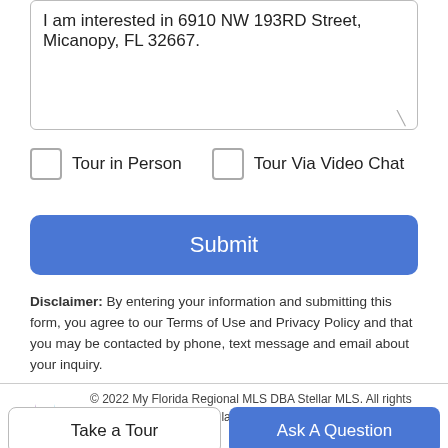I am interested in 6910 NW 193RD Street, Micanopy, FL 32667.
Tour in Person
Tour Via Video Chat
Submit
Disclaimer: By entering your information and submitting this form, you agree to our Terms of Use and Privacy Policy and that you may be contacted by phone, text message and email about your inquiry.
© 2022 My Florida Regional MLS DBA Stellar MLS. All rights reserved. All listings displayed pursuant to
Take a Tour
Ask A Question